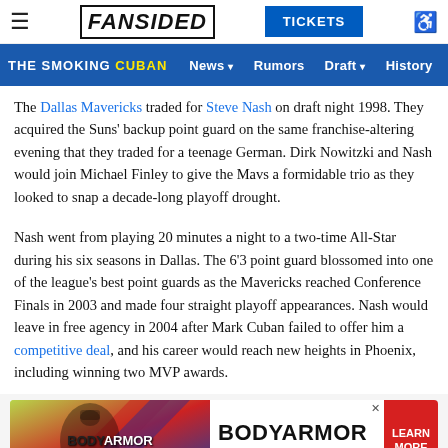≡ FANSIDED TICKETS ♿
THE SMOKING CUBAN  News ▾  Rumors  Draft ▾  History  A
The Dallas Mavericks traded for Steve Nash on draft night 1998. They acquired the Suns' backup point guard on the same franchise-altering evening that they traded for a teenage German. Dirk Nowitzki and Nash would join Michael Finley to give the Mavs a formidable trio as they looked to snap a decade-long playoff drought.
Nash went from playing 20 minutes a night to a two-time All-Star during his six seasons in Dallas. The 6'3 point guard blossomed into one of the league's best point guards as the Mavericks reached Conference Finals in 2003 and made four straight playoff appearances. Nash would leave in free agency in 2004 after Mark Cuban failed to offer him a competitive deal, and his career would reach new heights in Phoenix, including winning two MVP awards.
[Figure (infographic): BODYARMOR Sports Drink advertisement banner with product image and red 'LEARN MORE' button]